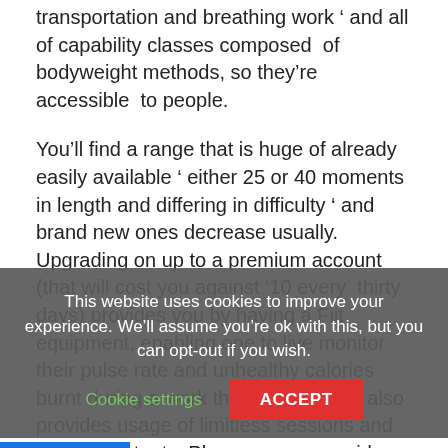transportation and breathing work ‘ and all of capability classes composed of bodyweight methods, so they’re accessible to people.
You’ll find a range that is huge of already easily available ‘ either 25 or 40 moments in length and differing in difficulty ‘ and brand new ones decrease usually. Upgrading on up to a premium account (that will cost you against ‘10 every thirty days) provides you by having a Fiit equipment, enabling one to live monitor their pulse rate and unhealthy calories burnt during a work that is great, and also provides usage of limitless sessions and unique contents. Plus, you can consider out one of many latest personalised knowledge projects, which
This website uses cookies to improve your experience. We’ll assume you’re ok with this, but you can opt-out if you wish.
Cookie settings
ACCEPT